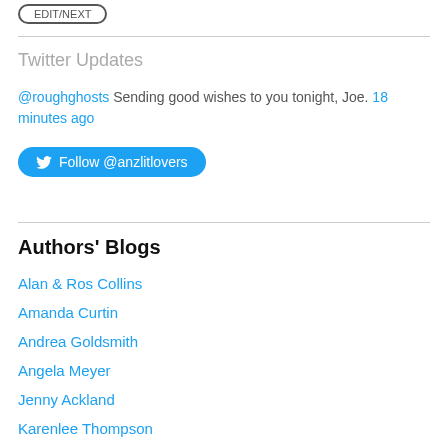[Figure (other): A rounded pill-shaped button outline with partially visible text]
Twitter Updates
@roughghosts Sending good wishes to you tonight, Joe. 18 minutes ago
[Figure (other): Blue Twitter Follow button with bird icon reading: Follow @anzlitlovers]
Authors' Blogs
Alan & Ros Collins
Amanda Curtin
Andrea Goldsmith
Angela Meyer
Jenny Ackland
Karenlee Thompson
Kirsten Krauth
Louise Allan